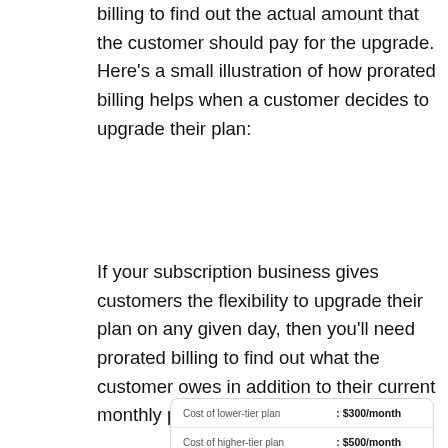billing to find out the actual amount that the customer should pay for the upgrade. Here's a small illustration of how prorated billing helps when a customer decides to upgrade their plan:
If your subscription business gives customers the flexibility to upgrade their plan on any given day, then you'll need prorated billing to find out what the customer owes in addition to their current monthly payment.
|  |  |
| --- | --- |
| Cost of lower-tier plan | : $300/month |
| Cost of higher-tier plan | : $500/month |